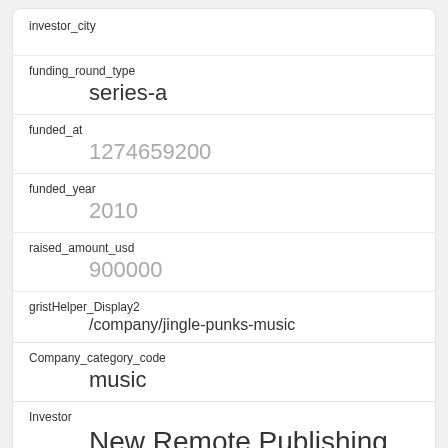investor_city
funding_round_type
series-a
funded_at
1274659200
funded_year
2010
raised_amount_usd
900000
gristHelper_Display2
/company/jingle-punks-music
Company_category_code
music
Investor
New Remote Publishing
https://www.crunchbase.com/company/new-remote-publishing
id